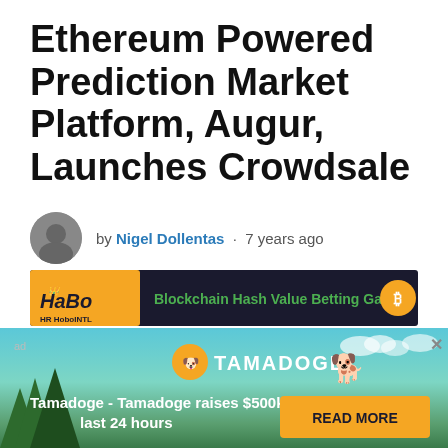Ethereum Powered Prediction Market Platform, Augur, Launches Crowdsale
by Nigel Dollentas · 7 years ago
Powered by crypto.com
[Figure (infographic): HaBo - Blockchain Hash Value Betting Game advertisement banner with dark background, orange HaBo logo section and green text]
[Figure (infographic): Tamadoge advertisement overlay with teal/green background, Tamadoge logo, pixel dog character, text: Tamadoge - Tamadoge raises $500k in last 24 hours, and READ MORE button in orange]